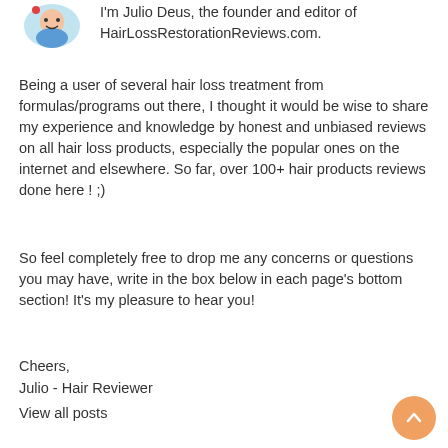[Figure (illustration): Small avatar icon of Julio Deus, the founder, shown at top left]
I'm Julio Deus, the founder and editor of HairLossRestorationReviews.com.
Being a user of several hair loss treatment from formulas/programs out there, I thought it would be wise to share my experience and knowledge by honest and unbiased reviews on all hair loss products, especially the popular ones on the internet and elsewhere. So far, over 100+ hair products reviews done here ! ;)
So feel completely free to drop me any concerns or questions you may have, write in the box below in each page's bottom section! It's my pleasure to hear you!
Cheers,
Julio - Hair Reviewer
View all posts